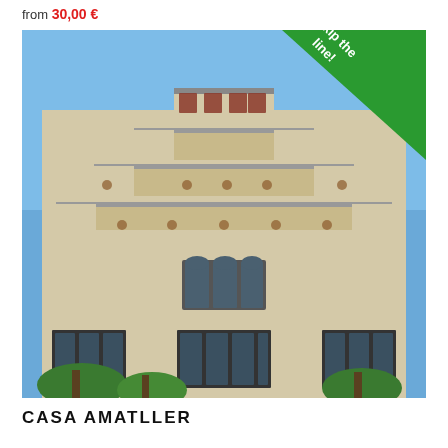from 30,00 €
[Figure (photo): Facade of Casa Amatller building in Barcelona showing stepped Dutch gable roofline with decorative tiles, arched windows and ornate stonework. A green diagonal banner in top-right corner reads 'Skip the line!']
CASA AMATLLER